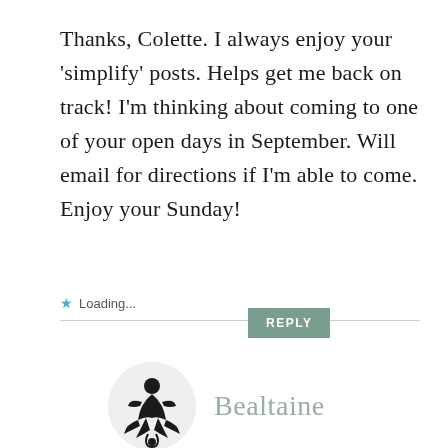Thanks, Colette. I always enjoy your 'simplify' posts. Helps get me back on track! I'm thinking about coming to one of your open days in September. Will email for directions if I'm able to come. Enjoy your Sunday!
Loading...
[Figure (logo): Circular avatar with a black decorative goddess/figure illustration on a light background]
Bealtaine